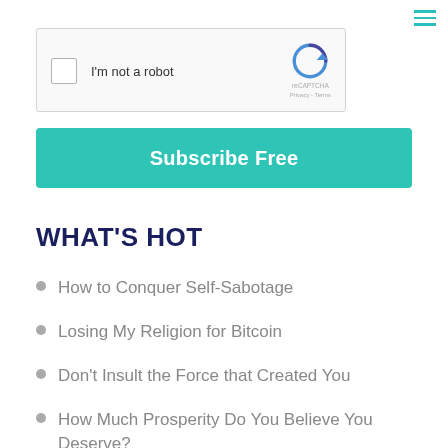[Figure (screenshot): reCAPTCHA widget with checkbox, 'I'm not a robot' label, reCAPTCHA logo, Privacy and Terms links]
Subscribe Free
WHAT'S HOT
How to Conquer Self-Sabotage
Losing My Religion for Bitcoin
Don't Insult the Force that Created You
How Much Prosperity Do You Believe You Deserve?